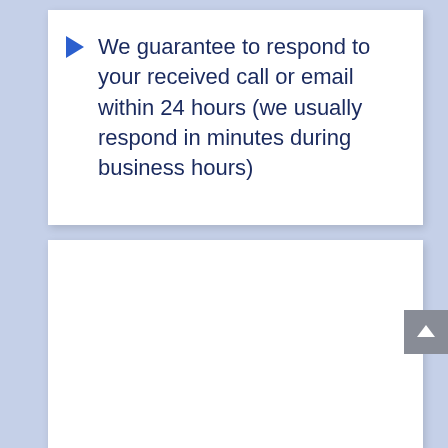We guarantee to respond to your received call or email within 24 hours (we usually respond in minutes during business hours)